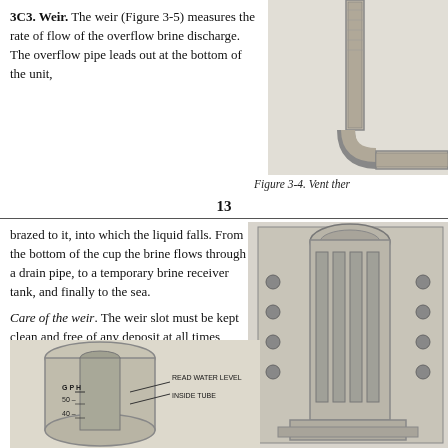3C3. Weir. The weir (Figure 3-5) measures the rate of flow of the overflow brine discharge. The overflow pipe leads out at the bottom of the unit,
[Figure (engineering-diagram): Partial view of vent thermometer or fitting, showing a curved pipe/tube component.]
Figure 3-4. Vent ther
13
brazed to it, into which the liquid falls. From the bottom of the cup the brine flows through a drain pipe, to a temporary brine receiver tank, and finally to the sea.
Care of the weir. The weir slot must be kept clean and free of any deposit at all times, otherwise the readings will be in error.
[Figure (engineering-diagram): Cross-section diagram of a mechanical valve or filter component, showing internal cylindrical tubes, bolts, and housing in a cutaway view.]
[Figure (engineering-diagram): Diagram of a weir flow measurement tube/cylinder showing water level measurement with labels: GPH scale (40, 50), READ WATER LEVEL INSIDE TUBE.]